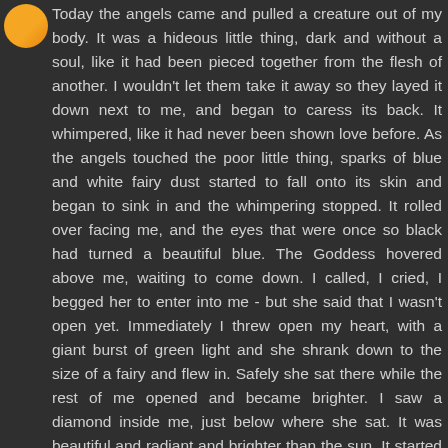[Figure (illustration): Orange circle avatar/profile icon in top-left corner]
Today the angels came and pulled a creature out of my body. It was a hideous little thing, dark and without a soul, like it had been pieced together from the flesh of another. I wouldn't let them take it away so they layed it down next to me, and began to caress its back. It whimpered, like it had never been shown love before. As the angels touched the poor little thing, sparks of blue and white fairy dust started to fall onto its skin and began to sink in and the whimpering stopped. It rolled over facing me, and the eyes that were once so black had turned a beautiful blue. The Goddess hovered above me, waiting to come down. I called, I cried, I begged her to enter into me - but she said that I wasn't open yet. Immediately I threw open my heart, with a giant burst of green light and she shrank down to the size of a fairy and flew in. Safely she sat there while the rest of me opened and became brighter. I saw a diamond inside me, just below where she sat. It was beautiful and radiant and brighter than the sun. It started spinning and throwing off these sparks, and the light inside me began to grow. And as it filled my being, the Goddess grew to full size. It was BRILLIANT!! She is perfect and pure. Everything about her is radiant and loving and just glorious. She wears flowing white and her smile, her is a beam of light. She